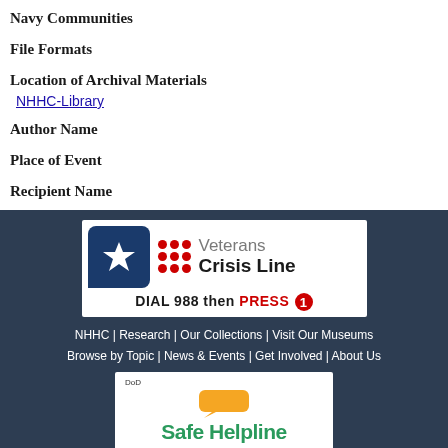Navy Communities
File Formats
Location of Archival Materials
NHHC-Library
Author Name
Place of Event
Recipient Name
[Figure (logo): Veterans Crisis Line logo with DIAL 988 then PRESS 1 text]
NHHC | Research | Our Collections | Visit Our Museums Browse by Topic | News & Events | Get Involved | About Us
[Figure (logo): Safe Helpline DoD logo with orange chat bubble icon]